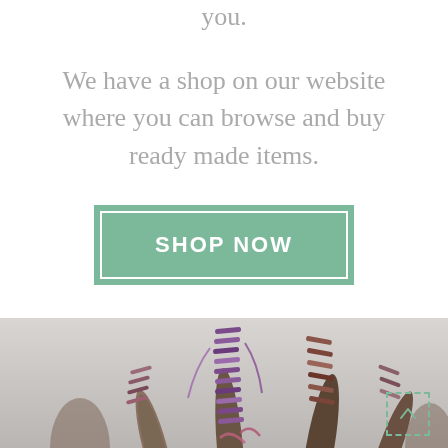you.
We have a shop on our website where you can browse and buy ready made items.
SHOP NOW
[Figure (photo): Close-up photograph of yarn/fiber craft pieces wrapped with purple and brown threads, resembling antler or branch shapes, on a light grey background. A dashed-border scroll-up button is visible in the bottom right corner.]